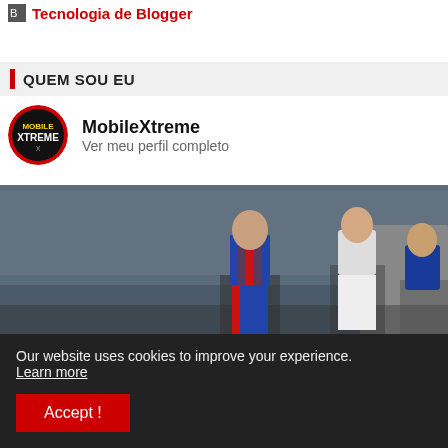Tecnologia de Blogger
QUEM SOU EU
MobileXtreme
Ver meu perfil completo
[Figure (screenshot): FIFA 16 Mobile game screenshot showing football players walking in a stadium tunnel area, with crowd in background. Bold white text overlay reads: FIFA 16 MOBILE v4 UPDATE]
Our website uses cookies to improve your experience.
Learn more
Accept !